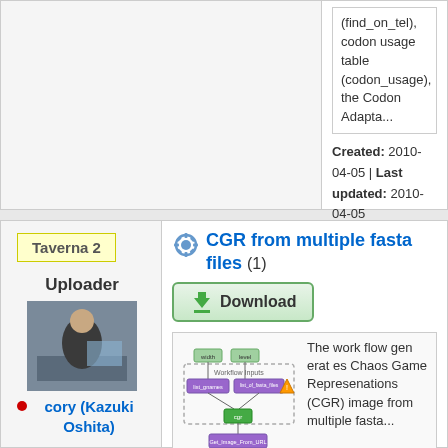(find_on_tel), codon usage table (codon_usage), the Codon Adapta...
Created: 2010-04-05 | Last updated: 2010-04-05
Credits: cory (Kazuki Oshita)
Taverna 2
Uploader
[Figure (photo): Photo of cory (Kazuki Oshita), a person sitting at a desk with a computer]
cory (Kazuki Oshita)
CGR from multiple fasta files (1)
Download
[Figure (flowchart): Taverna 2 workflow diagram showing CGR from multiple fasta files: inputs (width, level) -> list_gnames, list_of_fasta_files -> cgr -> Get_Image_From_URL -> List_of_CGR_image output]
The work flow gen erat es Chaos Game Represenations (CGR) image from multiple fasta...